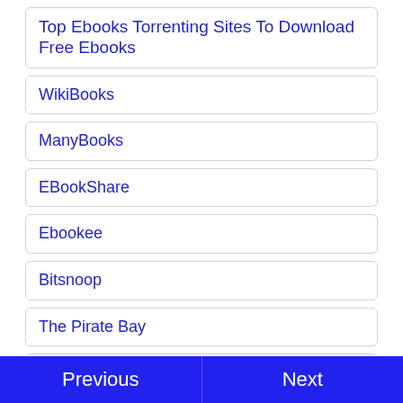Top Ebooks Torrenting Sites To Download Free Ebooks
WikiBooks
ManyBooks
EBookShare
Ebookee
Bitsnoop
The Pirate Bay
iTorrent
Planet eBook
Previous   Next